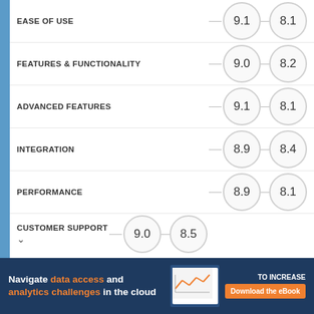[Figure (infographic): Comparison infographic showing ratings for two products across 6 categories. Each row shows a category label on the left, then two score circles connected by lines. Left scores: 9.1, 9.0, 9.1, 8.9, 8.9, 9.0. Right scores: 8.1, 8.2, 8.1, 8.4, 8.1, 8.5. Categories: Ease of Use, Features & Functionality, Advanced Features, Integration, Performance, Customer Support.]
Navigate data access and analytics challenges in the cloud — Download the eBook. TO INCREASE